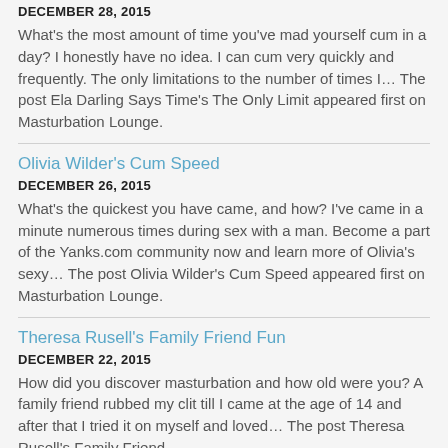DECEMBER 28, 2015
What's the most amount of time you've mad yourself cum in a day? I honestly have no idea. I can cum very quickly and frequently. The only limitations to the number of times I... The post Ela Darling Says Time's The Only Limit appeared first on Masturbation Lounge.
Olivia Wilder's Cum Speed
DECEMBER 26, 2015
What's the quickest you have came, and how? I've came in a minute numerous times during sex with a man. Become a part of the Yanks.com community now and learn more of Olivia's sexy... The post Olivia Wilder's Cum Speed appeared first on Masturbation Lounge.
Theresa Rusell's Family Friend Fun
DECEMBER 22, 2015
How did you discover masturbation and how old were you? A family friend rubbed my clit till I came at the age of 14 and after that I tried it on myself and loved... The post Theresa Rusell's Family Friend